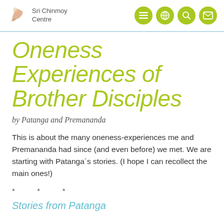Sri Chinmoy Centre
Oneness Experiences of Brother Disciples
by Patanga and Premananda
This is about the many oneness-experiences me and Premananda had since (and even before) we met. We are starting with Patanga´s stories. (I hope I can recollect the main ones!)
* * *
Stories from Patanga